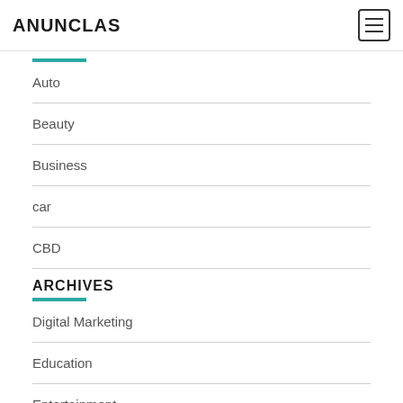ANUNCLAS
Auto
Beauty
Business
car
CBD
ARCHIVES
Digital Marketing
Education
Entertainment
Fashion
Fl…